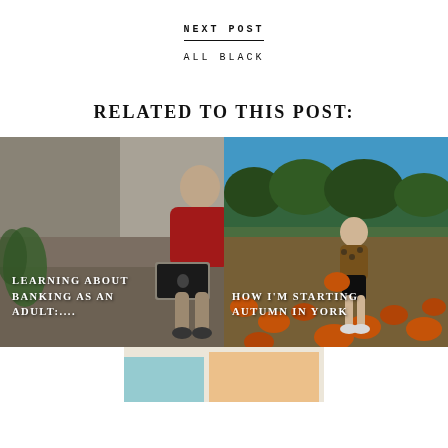NEXT POST
ALL BLACK
RELATED TO THIS POST:
[Figure (photo): Woman in red t-shirt sitting on sofa with laptop, overlaid text: LEARNING ABOUT BANKING AS AN ADULT:....]
[Figure (photo): Blonde woman standing in pumpkin field holding pumpkins, overlaid text: HOW I'M STARTING AUTUMN IN YORK]
[Figure (photo): Partial view of a third related post image at the bottom]